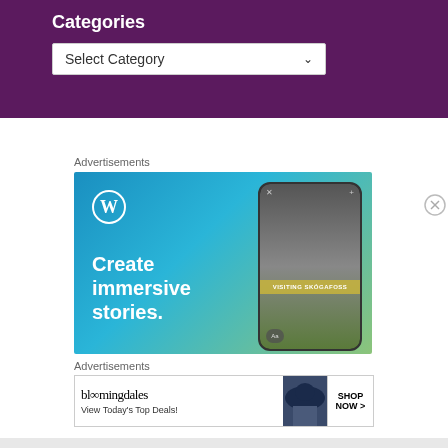Categories
[Figure (screenshot): Select Category dropdown widget on purple background]
Advertisements
[Figure (photo): WordPress advertisement: Create immersive stories. Shows WordPress logo and phone mockup with Visiting Skogafoss screen.]
Advertisements
[Figure (photo): Bloomingdale's advertisement: View Today's Top Deals! with woman in hat and SHOP NOW > button.]